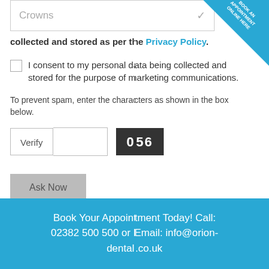[Figure (screenshot): Dropdown menu showing 'Crowns' option with checkmark]
collected and stored as per the Privacy Policy.
I consent to my personal data being collected and stored for the purpose of marketing communications.
To prevent spam, enter the characters as shown in the box below.
[Figure (screenshot): Verify input field with captcha showing '056']
Ask Now
Book Your Appointment Today! Call: 02382 500 500 or Email: info@orion-dental.co.uk